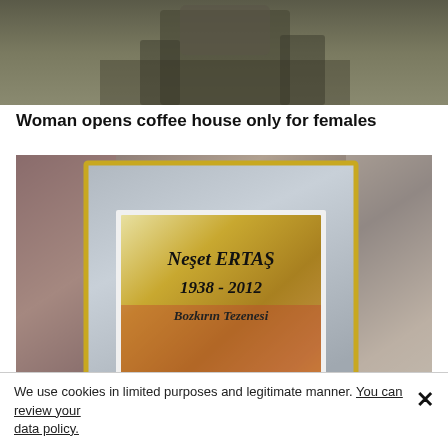[Figure (photo): Top portion of a photo showing a statue or sculpture, partially cropped]
Woman opens coffee house only for females
[Figure (photo): Photo of a gravestone/memorial plaque for Neşet ERTAŞ 1938–2012, Bozkırın Tezenesi, mounted on a stone wall]
We use cookies in limited purposes and legitimate manner. You can review your data policy.